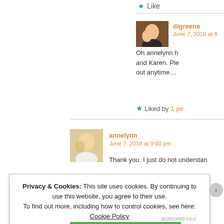Like
dlgreene
June 7, 2016 at [time]
Oh annelynn h... and Karen. Ple... out anytime...
Liked by 1 pe...
annelynn
June 7, 2016 at 9:00 pm
Thank you. I just do not understan...
Privacy & Cookies: This site uses cookies. By continuing to use this website, you agree to their use.
To find out more, including how to control cookies, see here: Cookie Policy
Close and accept